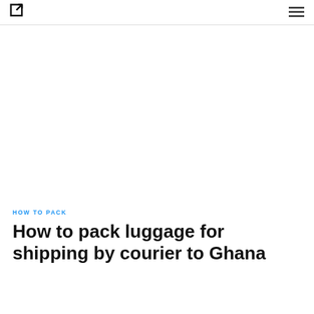[Figure (photo): Large white/blank image area placeholder for a photo of luggage packing]
HOW TO PACK
How to pack luggage for shipping by courier to Ghana